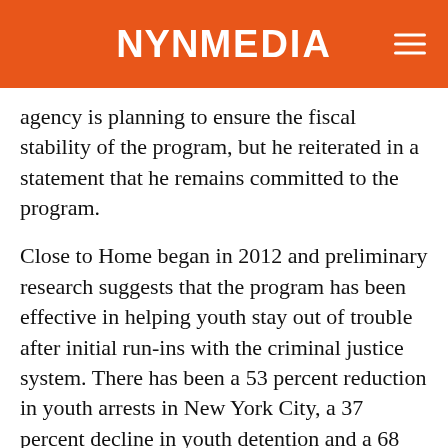NYNMEDIA
agency is planning to ensure the fiscal stability of the program, but he reiterated in a statement that he remains committed to the program.
Close to Home began in 2012 and preliminary research suggests that the program has been effective in helping youth stay out of trouble after initial run-ins with the criminal justice system. There has been a 53 percent reduction in youth arrests in New York City, a 37 percent decline in youth detention and a 68 percent decline in out-of-home placements. These successes are percentage points ahead of similar reductions experienced statewide, according to research from the Columbia University Justice Lab.
Consider what the current fiscal landscape suggests about